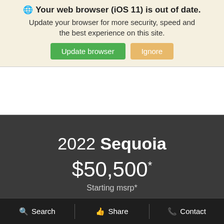🌐 Your web browser (iOS 11) is out of date.
Update your browser for more security, speed and the best experience on this site.
Update browser | Ignore
2022 Sequoia
$50,500*
Starting msrp*
Search | Share | Contact